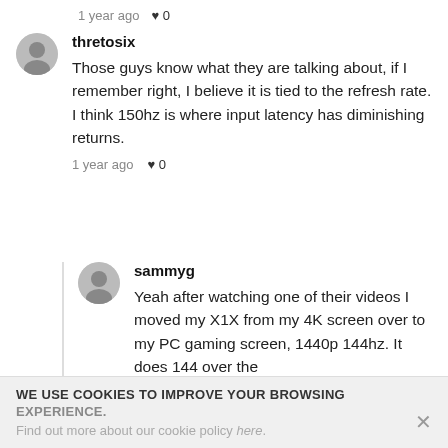1 year ago  ♥ 0
thretosix
Those guys know what they are talking about, if I remember right, I believe it is tied to the refresh rate. I think 150hz is where input latency has diminishing returns.
1 year ago  ♥ 0
sammyg
Yeah after watching one of their videos I moved my X1X from my 4K screen over to my PC gaming screen, 1440p 144hz. It does 144 over the
WE USE COOKIES TO IMPROVE YOUR BROWSING EXPERIENCE. Find out more about our cookie policy here.